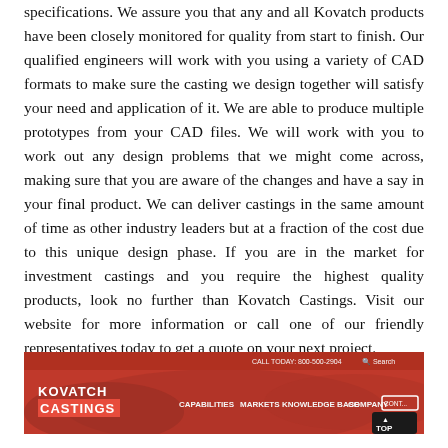specifications. We assure you that any and all Kovatch products have been closely monitored for quality from start to finish. Our qualified engineers will work with you using a variety of CAD formats to make sure the casting we design together will satisfy your need and application of it. We are able to produce multiple prototypes from your CAD files. We will work with you to work out any design problems that we might come across, making sure that you are aware of the changes and have a say in your final product. We can deliver castings in the same amount of time as other industry leaders but at a fraction of the cost due to this unique design phase. If you are in the market for investment castings and you require the highest quality products, look no further than Kovatch Castings. Visit our website for more information or call one of our friendly representatives today to get a quote on your next project.
[Figure (screenshot): Screenshot of the Kovatch Castings website homepage showing red navigation bar with logo, CAPABILITIES, MARKETS, KNOWLEDGE BASE, COMPANY menu items, and CALL TODAY: 800-500-2904 phone number at the top.]